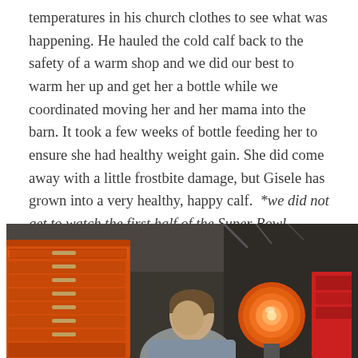temperatures in his church clothes to see what was happening. He hauled the cold calf back to the safety of a warm shop and we did our best to warm her up and get her a bottle while we coordinated moving her and her mama into the barn. It took a few weeks of bottle feeding her to ensure she had healthy weight gain. She did come away with a little frostbite damage, but Gisele has grown into a very healthy, happy calf. *we did not get to watch the first half of the Super Bowl
[Figure (photo): A young man in a gray sweatshirt sits in a garage or workshop next to an orange tool chest and an orange propane/electric heater. The background shows a dark garage with various tools and equipment.]